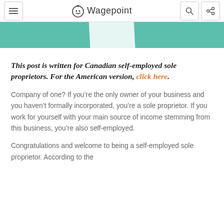Wagepoint
[Figure (illustration): Teal/green banner with partial illustration visible at top of content area]
This post is written for Canadian self-employed sole proprietors. For the American version, click here.
Company of one? If you’re the only owner of your business and you haven’t formally incorporated, you’re a sole proprietor. If you work for yourself with your main source of income stemming from this business, you’re also self-employed.
Congratulations and welcome to being a self-employed sole proprietor. According to the